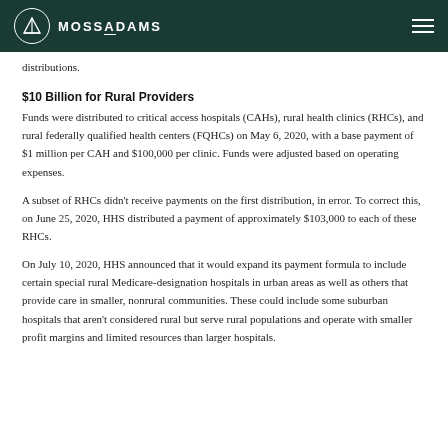MOSSADAMS
distributions.
$10 Billion for Rural Providers
Funds were distributed to critical access hospitals (CAHs), rural health clinics (RHCs), and rural federally qualified health centers (FQHCs) on May 6, 2020, with a base payment of $1 million per CAH and $100,000 per clinic. Funds were adjusted based on operating expenses.
A subset of RHCs didn’t receive payments on the first distribution, in error. To correct this, on June 25, 2020, HHS distributed a payment of approximately $103,000 to each of these RHCs.
On July 10, 2020, HHS announced that it would expand its payment formula to include certain special rural Medicare-designation hospitals in urban areas as well as others that provide care in smaller, nonrural communities. These could include some suburban hospitals that aren’t considered rural but serve rural populations and operate with smaller profit margins and limited resources than larger hospitals.